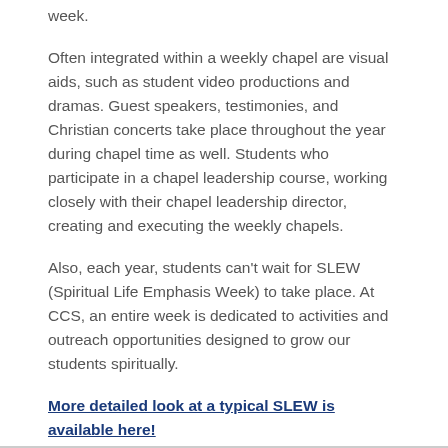week.
Often integrated within a weekly chapel are visual aids, such as student video productions and dramas. Guest speakers, testimonies, and Christian concerts take place throughout the year during chapel time as well. Students who participate in a chapel leadership course, working closely with their chapel leadership director, creating and executing the weekly chapels.
Also, each year, students can't wait for SLEW (Spiritual Life Emphasis Week) to take place. At CCS, an entire week is dedicated to activities and outreach opportunities designed to grow our students spiritually.
More detailed look at a typical SLEW is available here!